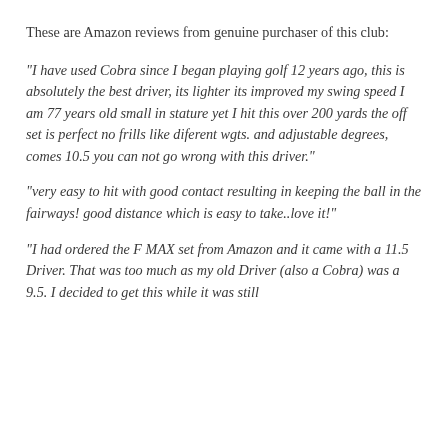These are Amazon reviews from genuine purchaser of this club:
"I have used Cobra since I began playing golf 12 years ago, this is absolutely the best driver, its lighter its improved my swing speed I am 77 years old small in stature yet I hit this over 200 yards the off set is perfect no frills like diferent wgts. and adjustable degrees, comes 10.5 you can not go wrong with this driver."
"very easy to hit with good contact resulting in keeping the ball in the fairways! good distance which is easy to take..love it!"
"I had ordered the F MAX set from Amazon and it came with a 11.5 Driver. That was too much as my old Driver (also a Cobra) was a 9.5. I decided to get this while it was still